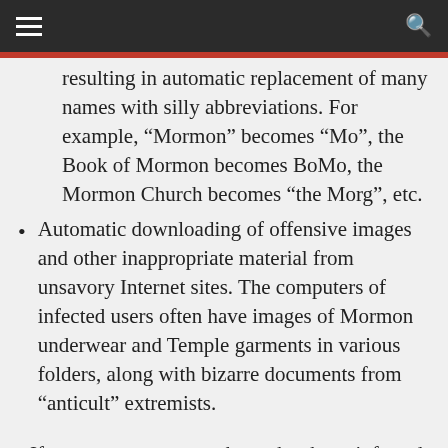≡  [search icon]
resulting in automatic replacement of many names with silly abbreviations. For example, “Mormon” becomes “Mo”, the Book of Mormon becomes BoMo, the Mormon Church becomes “the Morg”, etc.
Automatic downloading of offensive images and other inappropriate material from unsavory Internet sites. The computers of infected users often have images of Mormon underwear and Temple garments in various folders, along with bizarre documents from “anticult” extremists.
If you or someone you know has been infected with the EXMO virus, don’t panic. Their system can be